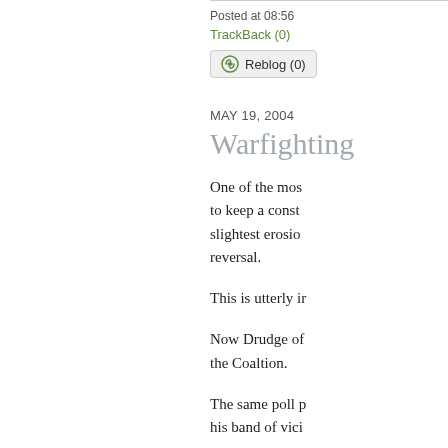Posted at 08:56
TrackBack (0)
Reblog (0)
MAY 19, 2004
Warfighting
One of the most to keep a const slightest erosio reversal.
This is utterly ir
Now Drudge of the Coaltion.
The same poll p his band of vici
The Posse is wi the likes of Ted
No war in histo